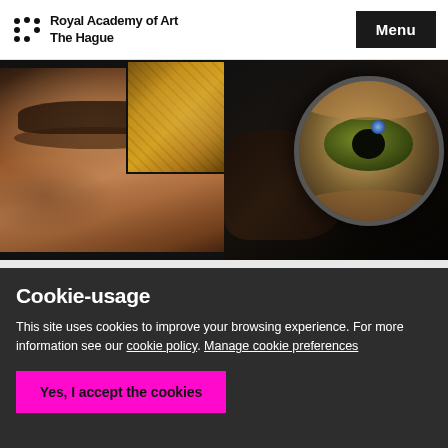Royal Academy of Art The Hague | Menu
[Figure (photo): Website screenshot showing a collage of close-up photography: left side shows a close-up of a person's face/eyes, top center shows a decorative/painted surface, right side shows an eye viewed through a magnifying lens or circle]
Cookie-usage
This site uses cookies to improve your browsing experience. For more information see our cookie policy. Manage cookie preferences
Yes, I accept the cookies